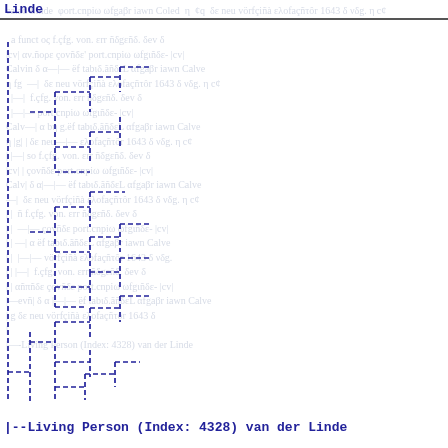Linde
[Figure (organizational-chart): Genealogical / family tree diagram drawn in blue dashed lines showing hierarchical branching structure across multiple generations, with background handwritten manuscript text in grey/blue]
--Living Person (Index: 4328) van der Linde